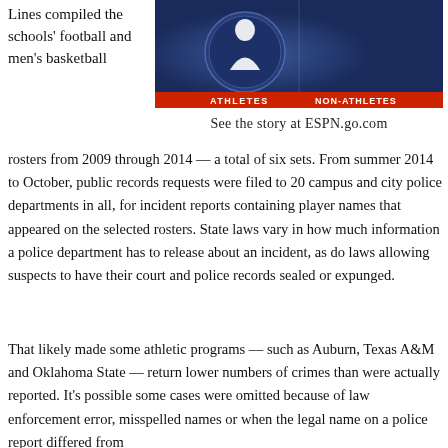Lines compiled the schools' football and men's basketball
[Figure (photo): ESPN graphic showing 'ATHLETES' and 'NON-ATHLETES' labels on a split-screen display with team logos on a blue background]
See the story at ESPN.go.com
rosters from 2009 through 2014 — a total of six sets. From summer 2014 to October, public records requests were filed to 20 campus and city police departments in all, for incident reports containing player names that appeared on the selected rosters. State laws vary in how much information a police department has to release about an incident, as do laws allowing suspects to have their court and police records sealed or expunged.
That likely made some athletic programs — such as Auburn, Texas A&M and Oklahoma State — return lower numbers of crimes than were actually reported. It's possible some cases were omitted because of law enforcement error, misspelled names or when the legal name on a police report differed from